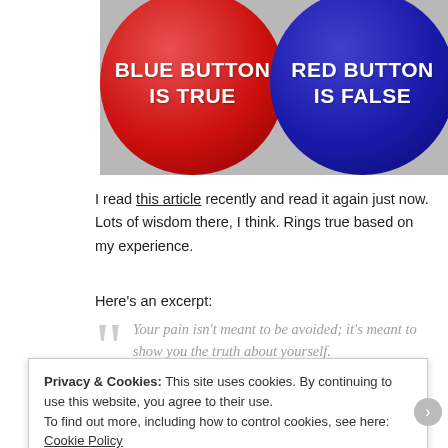[Figure (photo): Two badge buttons on a grey surface: a red button labeled 'BLUE BUTTON IS TRUE' and a blue button labeled 'RED BUTTON IS FALSE']
I read this article recently and read it again just now. Lots of wisdom there, I think. Rings true based on my experience.
Here's an excerpt:
Your pain isn't meant to be avoided; it's meant to show you the truth about yourself.
Privacy & Cookies: This site uses cookies. By continuing to use this website, you agree to their use.
To find out more, including how to control cookies, see here: Cookie Policy